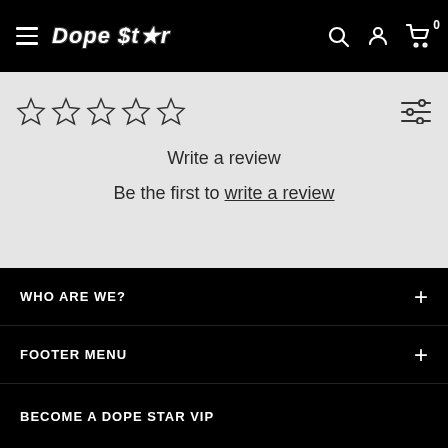Dope Star — navigation header with hamburger menu, logo, search, account, and cart icons
[Figure (screenshot): Five empty star rating icons (outline only, no fill)]
[Figure (other): Filter/sort icon: three horizontal sliders]
Write a review
Be the first to write a review
WHO ARE WE?
FOOTER MENU
BECOME A DOPE STAR VIP